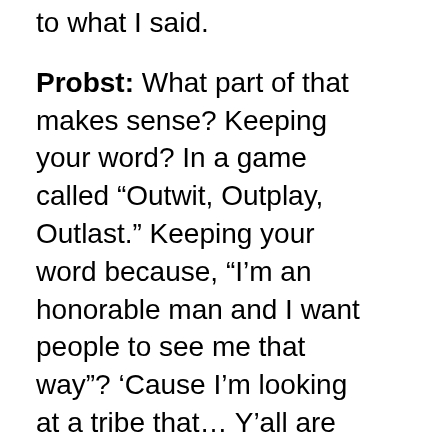to what I said.
Probst: What part of that makes sense? Keeping your word? In a game called “Outwit, Outplay, Outlast.” Keeping your word because, “I’m an honorable man and I want people to see me that way”? ‘Cause I’m looking at a tribe that… Y’all are keeping your word, great. All it’s doing is giving you more time here with me at Tribal Council.
Rupert: Sitting here at Tribal Council